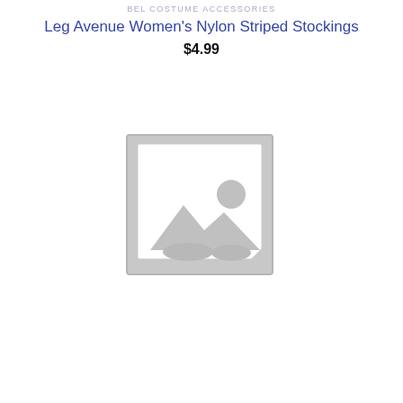BEL COSTUME ACCESSORIES
Leg Avenue Women's Nylon Striped Stockings
$4.99
[Figure (photo): Placeholder image icon showing a grey outlined square with a mountain landscape and sun silhouette inside, indicating no product image is available.]